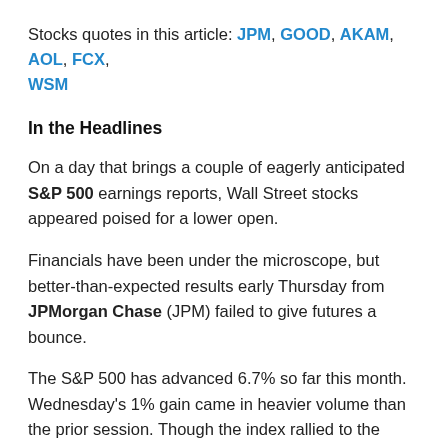Stocks quotes in this article: JPM, GOOD, AKAM, AOL, FCX, WSM
In the Headlines
On a day that brings a couple of eagerly anticipated S&P 500 earnings reports, Wall Street stocks appeared poised for a lower open.
Financials have been under the microscope, but better-than-expected results early Thursday from JPMorgan Chase (JPM) failed to give futures a bounce.
The S&P 500 has advanced 6.7% so far this month. Wednesday's 1% gain came in heavier volume than the prior session. Though the index rallied to the 1220 level, after some selling in the later part of the session, it closed below those highs.